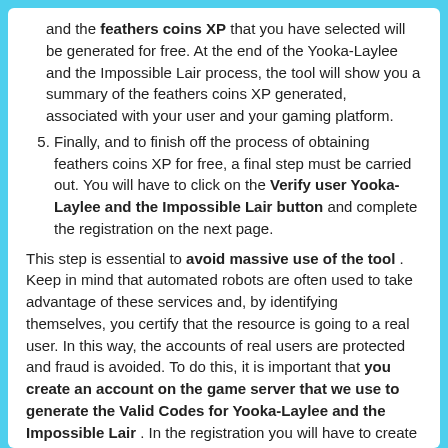and the feathers coins XP that you have selected will be generated for free. At the end of the Yooka-Laylee and the Impossible Lair process, the tool will show you a summary of the feathers coins XP generated, associated with your user and your gaming platform.
5. Finally, and to finish off the process of obtaining feathers coins XP for free, a final step must be carried out. You will have to click on the Verify user Yooka-Laylee and the Impossible Lair button and complete the registration on the next page.
This step is essential to avoid massive use of the tool . Keep in mind that automated robots are often used to take advantage of these services and, by identifying themselves, you certify that the resource is going to a real user. In this way, the accounts of real users are protected and fraud is avoided. To do this, it is important that you create an account on the game server that we use to generate the Valid Codes for Yooka-Laylee and the Impossible Lair . In the registration you will have to create a user, either with your email, or with a username, and also generate a password. Finally, you will have to verify your account with a debit or credit card number, with no registration fees. At the end of this verification process, the feathers coins XP will be generated automatically.